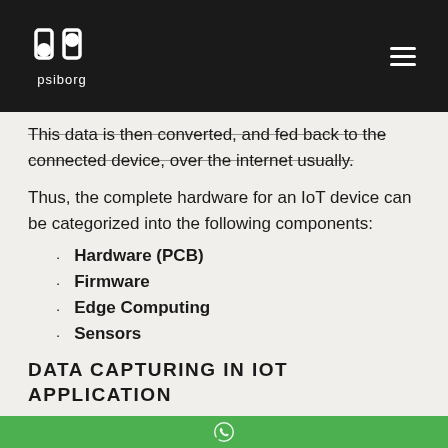psiborg
This data is then converted, and fed back to the connected device, over the internet usually.
Thus, the complete hardware for an IoT device can be categorized into the following components:
Hardware (PCB)
Firmware
Edge Computing
Sensors
DATA CAPTURING IN IOT APPLICATION
Capturing data is the first layer of IoT application